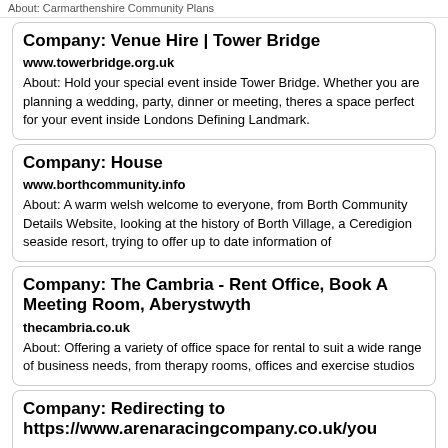About: Carmarthenshire Community Plans
Company: Venue Hire | Tower Bridge
www.towerbridge.org.uk
About: Hold your special event inside Tower Bridge. Whether you are planning a wedding, party, dinner or meeting, theres a space perfect for your event inside Londons Defining Landmark.
Company: House
www.borthcommunity.info
About: A warm welsh welcome to everyone, from Borth Community Details Website, looking at the history of Borth Village, a Ceredigion seaside resort, trying to offer up to date information of
Company: The Cambria - Rent Office, Book A Meeting Room, Aberystwyth
thecambria.co.uk
About: Offering a variety of office space for rental to suit a wide range of business needs, from therapy rooms, offices and exercise studios
Company: Redirecting to https://www.arenaracingcompany.co.uk/you